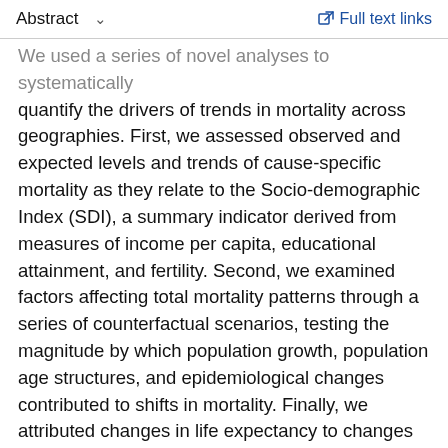Abstract  ∨    Full text links
We used a series of novel analyses to systematically quantify the drivers of trends in mortality across geographies. First, we assessed observed and expected levels and trends of cause-specific mortality as they relate to the Socio-demographic Index (SDI), a summary indicator derived from measures of income per capita, educational attainment, and fertility. Second, we examined factors affecting total mortality patterns through a series of counterfactual scenarios, testing the magnitude by which population growth, population age structures, and epidemiological changes contributed to shifts in mortality. Finally, we attributed changes in life expectancy to changes in cause of death. We documented each step of the GBD 2015 estimation processes, as well as data sources, in accordance with Guidelines for Accurate and Transparent Health Estimates Reporting (GATHER).